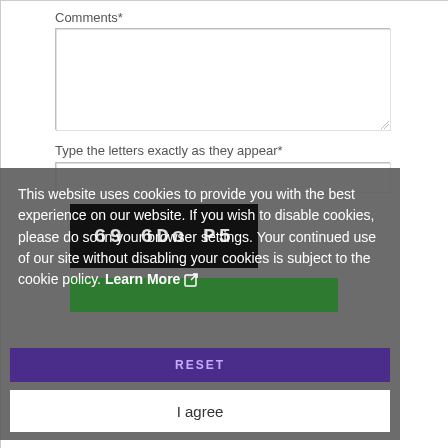Comments*
[Figure (screenshot): Comments text area input field (empty)]
Type the letters exactly as they appear*
[Figure (screenshot): CAPTCHA text input field (empty)]
[Figure (screenshot): CAPTCHA image showing distorted text '69 6Do P5']
[Figure (screenshot): Green submit button]
[Figure (screenshot): Cookie consent overlay with text: 'This website uses cookies to provide you with the best experience on our website. If you wish to disable cookies, please do so in your browser settings. Your continued use of our site without disabling your cookies is subject to the cookie policy. Learn More [icon]' and an 'I agree' button and 'RESET' button below]
This website uses cookies to provide you with the best experience on our website. If you wish to disable cookies, please do so in your browser settings. Your continued use of our site without disabling your cookies is subject to the cookie policy. Learn More
RESET
I agree